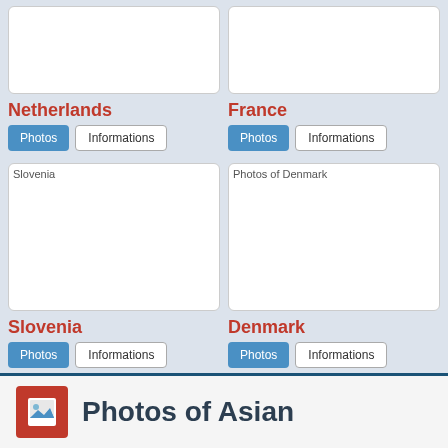[Figure (photo): Netherlands country photo placeholder (white box)]
[Figure (photo): France country photo placeholder (white box)]
Netherlands
Photos | Informations
France
Photos | Informations
[Figure (photo): Slovenia country photo placeholder]
[Figure (photo): Photos of Denmark country photo placeholder]
Slovenia
Photos | Informations
Denmark
Photos | Informations
Photos of Asian